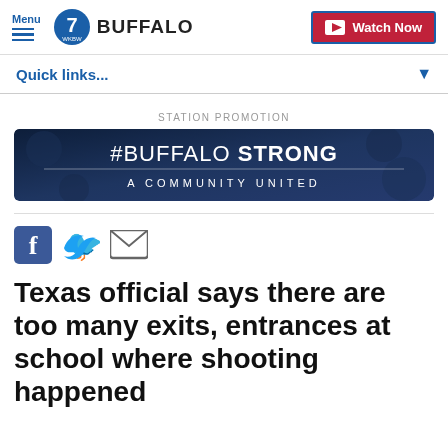Menu | 7 WKBW BUFFALO | Watch Now
Quick links...
STATION PROMOTION
[Figure (illustration): #BUFFALO STRONG - A COMMUNITY UNITED promotional banner with dark blue background]
[Figure (illustration): Social share icons: Facebook, Twitter, Email]
Texas official says there are too many exits, entrances at school where shooting happened